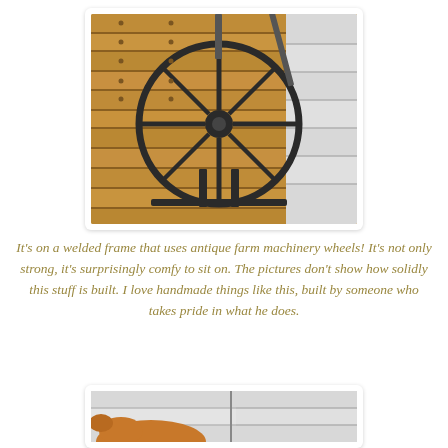[Figure (photo): A black metal antique farm machinery wheel on a welded frame, resting on weathered wood deck boards, with white siding visible in the background.]
It's on a welded frame that uses antique farm machinery wheels! It's not only strong, it's surprisingly comfy to sit on. The pictures don't show how solidly this stuff is built. I love handmade things like this, built by someone who takes pride in what he does.
[Figure (photo): Partial view of a second photo showing what appears to be a dog near white siding.]